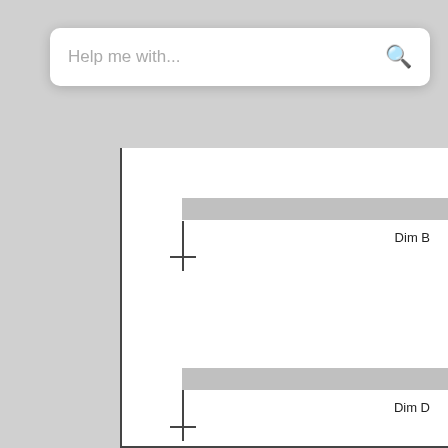Help me with...
[Figure (engineering-diagram): Engineering diagram showing conduit bend dimensions. Two horizontal gray bars labeled 'Dim B' and 'Dim D' with vertical lines and crosshair markers indicating measurement points.]
IMPORTANT: All dimensions provided as conduit bend information from Greenlee bender manuals. Actual dimensions needed to acurately...